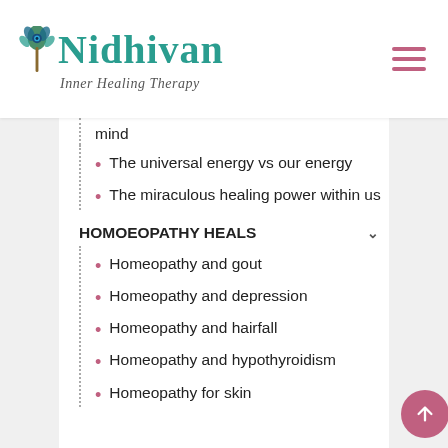[Figure (logo): Nidhivan Inner Healing Therapy logo with peacock feather graphic]
mind
The universal energy vs our energy
The miraculous healing power within us
HOMOEOPATHY HEALS
Homeopathy and gout
Homeopathy and depression
Homeopathy and hairfall
Homeopathy and hypothyroidism
Homeopathy for skin...